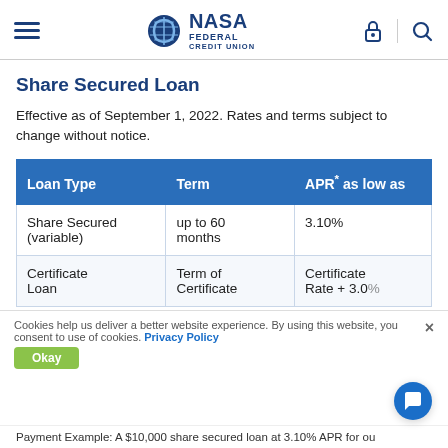NASA Federal Credit Union
Share Secured Loan
Effective as of September 1, 2022. Rates and terms subject to change without notice.
| Loan Type | Term | APR* as low as |
| --- | --- | --- |
| Share Secured (variable) | up to 60 months | 3.10% |
| Certificate Loan | Term of Certificate | Certificate Rate + 3.0% |
Cookies help us deliver a better website experience. By using this website, you consent to use of cookies. Privacy Policy
Payment Example: A $10,000 share secured loan at 3.10% APR for ou